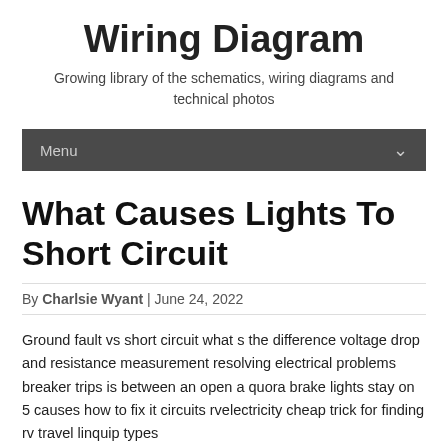Wiring Diagram
Growing library of the schematics, wiring diagrams and technical photos
Menu
What Causes Lights To Short Circuit
By Charlsie Wyant | June 24, 2022
Ground fault vs short circuit what s the difference voltage drop and resistance measurement resolving electrical problems breaker trips is between an open a quora brake lights stay on 5 causes how to fix it circuits rvelectricity cheap trick for finding rv travel linquip types